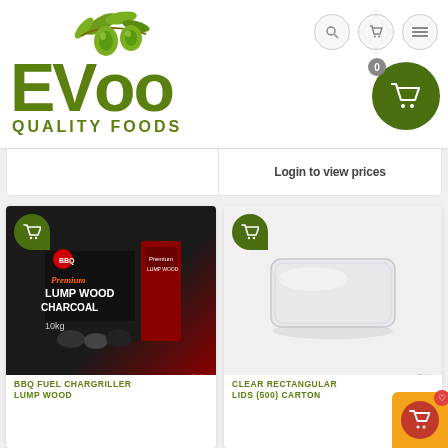[Figure (logo): EVOO Quality Foods logo with green olive branch and olive graphic above stylized text 'EVOO QUALITY FOODS' in green]
[Figure (infographic): Navigation icons: search, cart, hamburger menu circles top right; large green circle cart icon with badge '0']
Login to view prices
[Figure (photo): Product image: Premium Lump Wood Charcoal box, black and red packaging, 10kg, BBQ Fuel Chargriller]
BBQ FUEL CHARGRILLER LUMP WOOD
[Figure (photo): Product image: Clear rectangular plastic lid on grey background]
CLEAR RECTANGULAR LIDS (500) CARTON